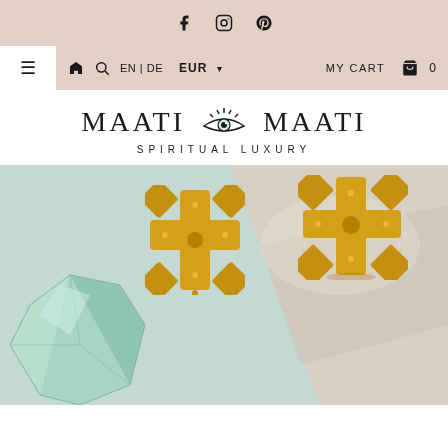Social icons: Facebook, Instagram, Pinterest
☰  🏠  🔍  EN | DE  EUR ▾  MY CART 🛍 0
MAATI MAATI - SPIRITUAL LUXURY
[Figure (photo): Product photo of two gold Ethiopian Coptic cross earrings lying on a light surface next to a mint green crystal/fluorite rock, with soft shadow play. Background is pale blue-green and grey-beige tones.]